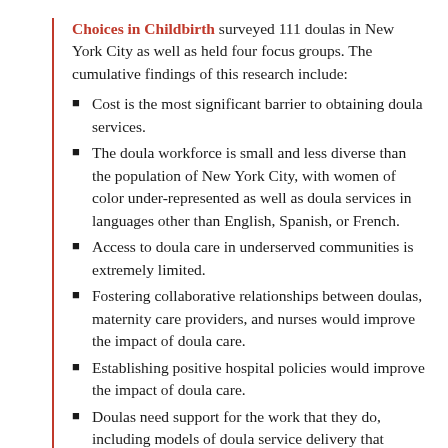Choices in Childbirth surveyed 111 doulas in New York City as well as held four focus groups. The cumulative findings of this research include:
Cost is the most significant barrier to obtaining doula services.
The doula workforce is small and less diverse than the population of New York City, with women of color under-represented as well as doula services in languages other than English, Spanish, or French.
Access to doula care in underserved communities is extremely limited.
Fostering collaborative relationships between doulas, maternity care providers, and nurses would improve the impact of doula care.
Establishing positive hospital policies would improve the impact of doula care.
Doulas need support for the work that they do, including models of doula service delivery that